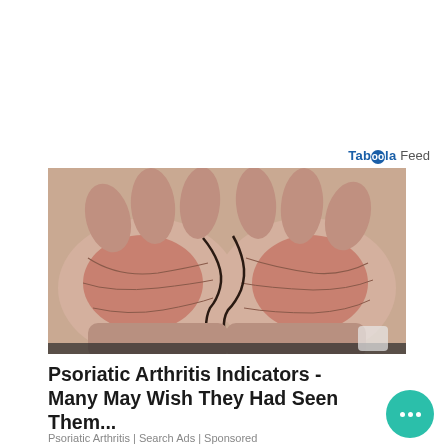[Figure (logo): Taboola Feed logo with blue text]
[Figure (photo): Close-up photo of two hands with reddened, inflamed palms showing psoriatic arthritis symptoms]
Psoriatic Arthritis Indicators - Many May Wish They Had Seen Them...
Psoriatic Arthritis | Search Ads | Sponsored